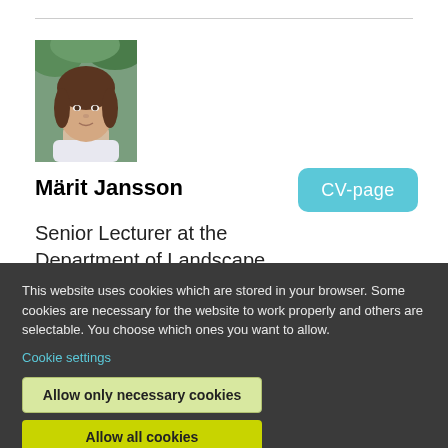[Figure (photo): Portrait photo of Märit Jansson, a woman with brown hair wearing a light-colored top, with green foliage in the background]
Märit Jansson
CV-page
Senior Lecturer at the Department of Landscape Architecture, Planning and
This website uses cookies which are stored in your browser. Some cookies are necessary for the website to work properly and others are selectable. You choose which ones you want to allow.
Cookie settings
Allow only necessary cookies
Allow all cookies